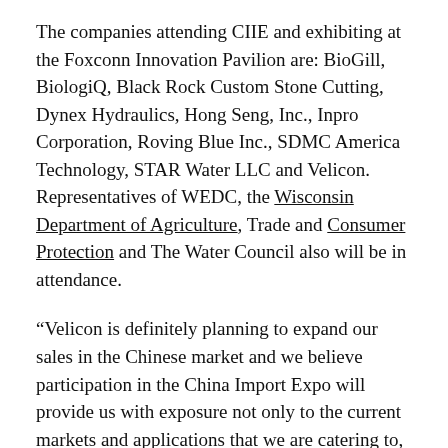The companies attending CIIE and exhibiting at the Foxconn Innovation Pavilion are: BioGill, BiologiQ, Black Rock Custom Stone Cutting, Dynex Hydraulics, Hong Seng, Inc., Inpro Corporation, Roving Blue Inc., SDMC America Technology, STAR Water LLC and Velicon. Representatives of WEDC, the Wisconsin Department of Agriculture, Trade and Consumer Protection and The Water Council also will be in attendance.
“Velicon is definitely planning to expand our sales in the Chinese market and we believe participation in the China Import Expo will provide us with exposure not only to the current markets and applications that we are catering to, but also to discrete equipment and component markets that are currently not known to us,” said Alex Edirisinghe, Program Manager at Velicon. “We are very thankful